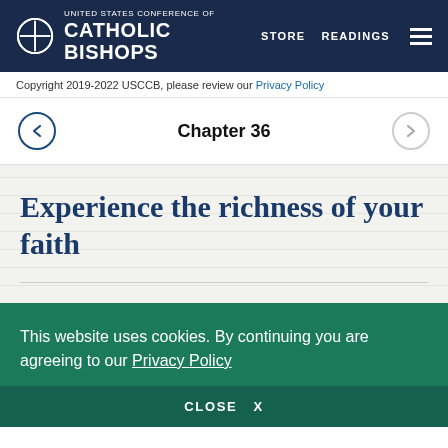UNITED STATES CONFERENCE OF CATHOLIC BISHOPS  STORE  READINGS
Copyright 2019-2022 USCCB, please review our Privacy Policy
Chapter 36
Experience the richness of your faith
This website uses cookies. By continuing you are agreeing to our Privacy Policy
CLOSE  X